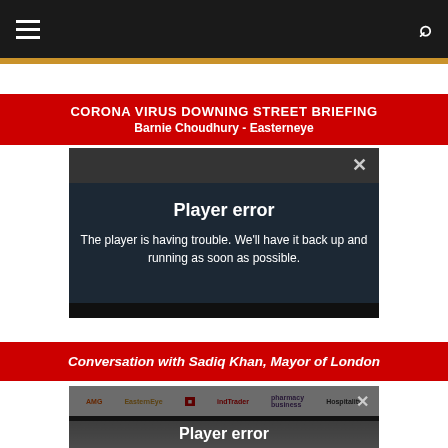Navigation bar with menu and search icons
CORONA VIRUS DOWNING STREET BRIEFING
Barnie Choudhury - Easterneye
[Figure (screenshot): Video player showing a Player error message: 'Player error - The player is having trouble. We'll have it back up and running as soon as possible.' with close X button]
Conversation with Sadiq Khan, Mayor of London
[Figure (screenshot): Video player showing a Player error message with media logos bar (AMG, EasternEye, red square logo, indTrader, pharmacy business, Hospitality) and partial Player error text visible]